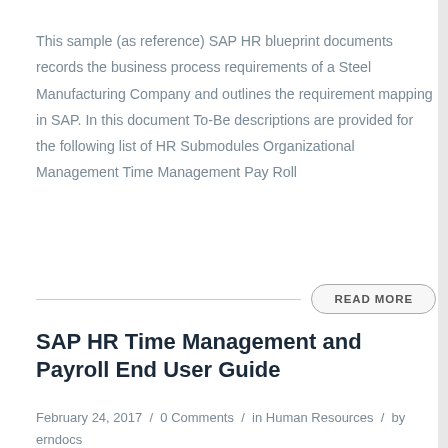This sample (as reference) SAP HR blueprint documents records the business process requirements of a Steel Manufacturing Company and outlines the requirement mapping in SAP. In this document To-Be descriptions are provided for the following list of HR Submodules Organizational Management Time Management Pay Roll
READ MORE
SAP HR Time Management and Payroll End User Guide
February 24, 2017 / 0 Comments / in Human Resources / by
erndocs